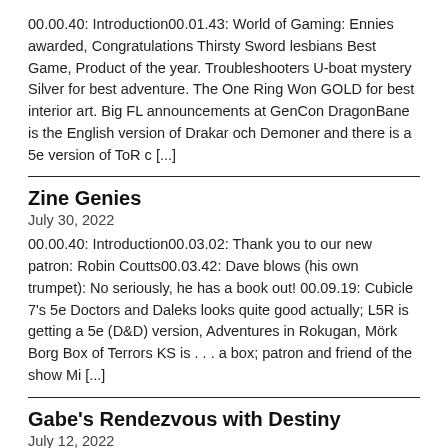00.00.40: Introduction00.01.43: World of Gaming: Ennies awarded, Congratulations Thirsty Sword lesbians Best Game, Product of the year. Troubleshooters U-boat mystery Silver for best adventure. The One Ring Won GOLD for best interior art. Big FL announcements at GenCon DragonBane is the English version of Drakar och Demoner and there is a 5e version of ToR c [...]
Zine Genies
July 30, 2022
00.00.40: Introduction00.03.02: Thank you to our new patron: Robin Coutts00.03.42: Dave blows (his own trumpet): No seriously, he has a book out! 00.09.19: Cubicle 7's 5e Doctors and Daleks looks quite good actually; L5R is getting a 5e (D&D) version, Adventures in Rokugan, Mörk Borg Box of Terrors KS is . . . a box; patron and friend of the show Mi [...]
Gabe's Rendezvous with Destiny
July 12, 2022
00.00.40: Introduction00.04.07: Thank you to our new patrons: Martin Frändén; David Taylor00.05.45: World of Gaming: Ennies nominations; Matthew plays Bladerunner; Dave reads Into the Odd00.35.13: Interview: Gabe Garcia talks War Stories: pre-order and